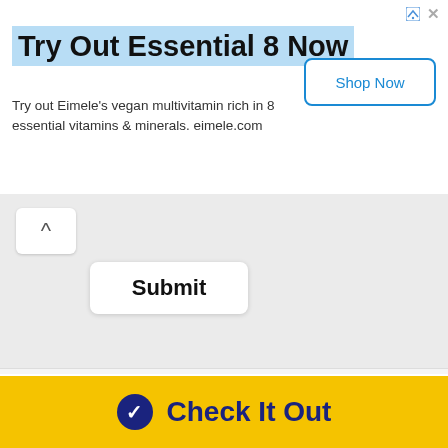Try Out Essential 8 Now
Try out Eimele's vegan multivitamin rich in 8 essential vitamins & minerals. eimele.com
Shop Now
[Figure (screenshot): Up caret button and Submit button on grey background]
[Figure (logo): Agile Truck Tools logo with red chevron icon and text 'AGILE TRUCK TOOLS' beside 'Summer 2022 Promo' highlighted in pink]
Price Match Guarantee. Free Shipping. Free Training. Free Support Hotline. Easy Financing.
Check It Out